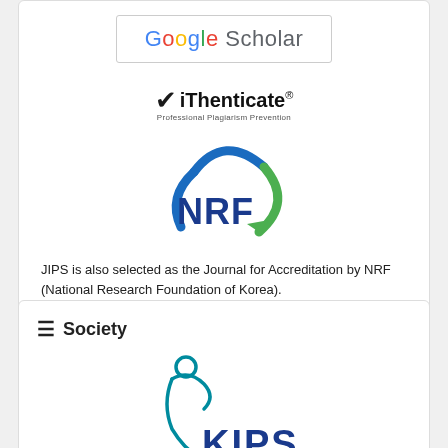[Figure (logo): Google Scholar logo with border box]
[Figure (logo): iThenticate Professional Plagiarism Prevention logo with checkmark]
[Figure (logo): NRF (National Research Foundation) logo with blue and green circular swoosh]
JIPS is also selected as the Journal for Accreditation by NRF (National Research Foundation of Korea).
≡ Society
[Figure (logo): KIPS logo with stylized figure and letters KIPS]